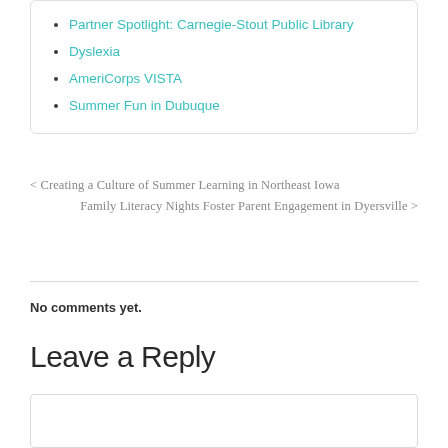Partner Spotlight: Carnegie-Stout Public Library
Dyslexia
AmeriCorps VISTA
Summer Fun in Dubuque
< Creating a Culture of Summer Learning in Northeast Iowa
Family Literacy Nights Foster Parent Engagement in Dyersville >
No comments yet.
Leave a Reply